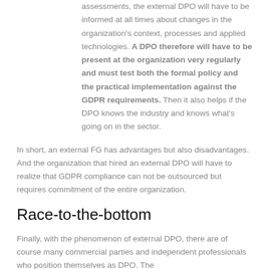assessments, the external DPO will have to be informed at all times about changes in the organization's context, processes and applied technologies. A DPO therefore will have to be present at the organization very regularly and must test both the formal policy and the practical implementation against the GDPR requirements. Then it also helps if the DPO knows the industry and knows what's going on in the sector.
In short, an external FG has advantages but also disadvantages. And the organization that hired an external DPO will have to realize that GDPR compliance can not be outsourced but requires commitment of the entire organization.
Race-to-the-bottom
Finally, with the phenomenon of external DPO, there are of course many commercial parties and independent professionals who position themselves as DPO. The